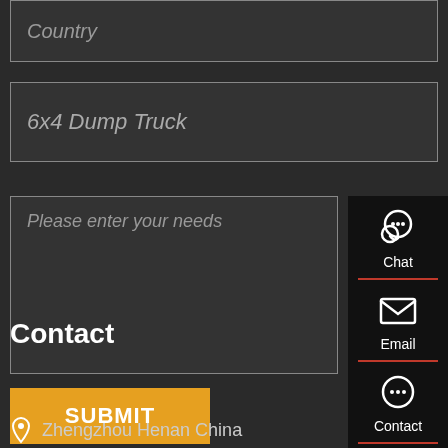Country
6x4 Dump Truck
Please enter your needs
SUBMIT
Contact
Chat
Email
Contact
Top
Zhengzhou Henan China